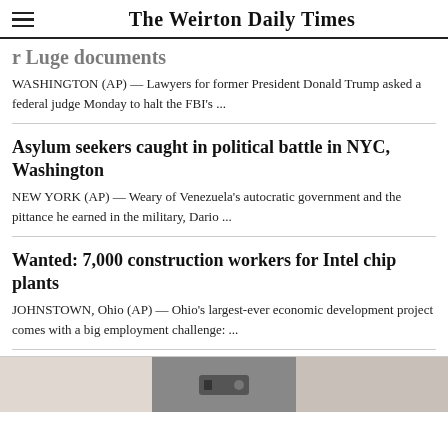The Weirton Daily Times
r Luge documents
WASHINGTON (AP) — Lawyers for former President Donald Trump asked a federal judge Monday to halt the FBI's ...
Asylum seekers caught in political battle in NYC, Washington
NEW YORK (AP) — Weary of Venezuela's autocratic government and the pittance he earned in the military, Dario ...
Wanted: 7,000 construction workers for Intel chip plants
JOHNSTOWN, Ohio (AP) — Ohio's largest-ever economic development project comes with a big employment challenge: ...
[Figure (photo): Partial image visible at bottom of page, showing what appears to be an industrial or construction-related photo]